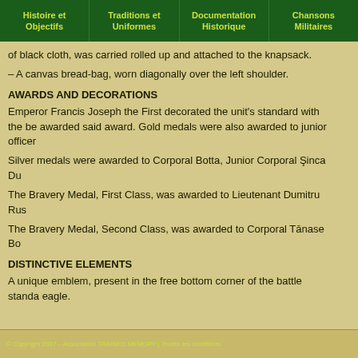Histoire et Objectifs | Traditions et Uniformes | Documentation Historique | Chansons Militaires
of black cloth, was carried rolled up and attached to the knapsack.
– A canvas bread-bag, worn diagonally over the left shoulder.
AWARDS AND DECORATIONS
Emperor Francis Joseph the First decorated the unit's standard with the be awarded said award. Gold medals were also awarded to junior officer
Silver medals were awarded to Corporal Botta, Junior Corporal Şinca Du
The Bravery Medal, First Class, was awarded to Lieutenant Dumitru Rus
The Bravery Medal, Second Class, was awarded to Corporal Tānase Bo
DISTINCTIVE ELEMENTS
A unique emblem, present in the free bottom corner of the battle standa eagle.
© Copyright 2017 – Association TRAINED MEMORY | Toutes les conditions